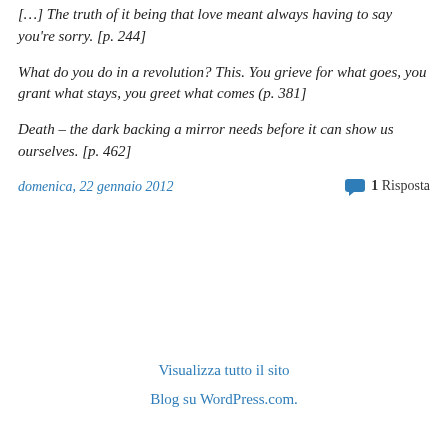[…] The truth of it being that love meant always having to say you're sorry. [p. 244]
What do you do in a revolution? This. You grieve for what goes, you grant what stays, you greet what comes (p. 381]
Death – the dark backing a mirror needs before it can show us ourselves. [p. 462]
domenica, 22 gennaio 2012
1 Risposta
Visualizza tutto il sito
Blog su WordPress.com.